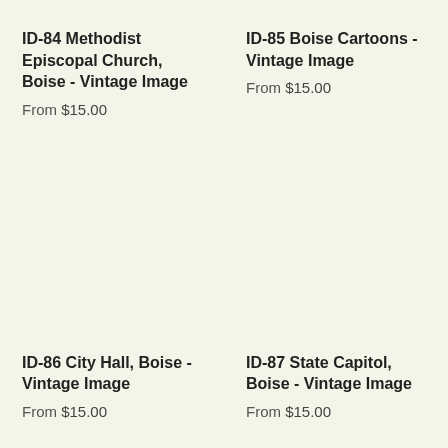ID-84 Methodist Episcopal Church, Boise - Vintage Image
From $15.00
ID-85 Boise Cartoons - Vintage Image
From $15.00
ID-86 City Hall, Boise - Vintage Image
From $15.00
ID-87 State Capitol, Boise - Vintage Image
From $15.00